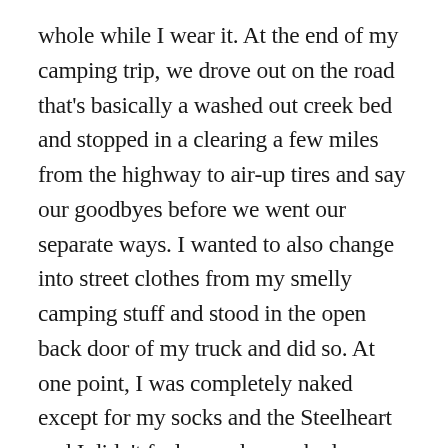whole while I wear it. At the end of my camping trip, we drove out on the road that's basically a washed out creek bed and stopped in a clearing a few miles from the highway to air-up tires and say our goodbyes before we went our separate ways. I wanted to also change into street clothes from my smelly camping stuff and stood in the open back door of my truck and did so. At one point, I was completely naked except for my socks and the Steelheart and I didn't feel scared or rushed or any of the things I would even if I was just changing in a locker room where nakedness is expected. Somehow something has flipped in my head where enforced chastity equals